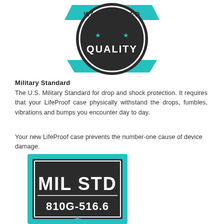[Figure (logo): Water Tested Quality badge: circular badge with dark background, teal banner on top and bottom, teal stars, text 'WATER TESTED' on top banner and 'QUALITY' in bold at center.]
Military Standard
The U.S. Military Standard for drop and shock protection. It requires that your LifeProof case physically withstand the drops, fumbles, vibrations and bumps you encounter day to day.
Your new LifeProof case prevents the number-one cause of device damage.
[Figure (logo): MIL STD 810G-516.6 badge: rectangular badge with teal border, dark inner rectangle, bold white text 'MIL STD' on top and '810G-516.6' below, teal star at bottom.]